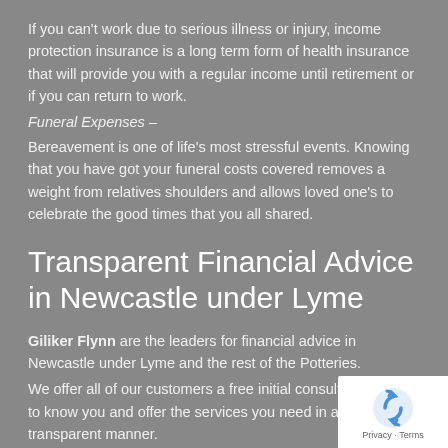If you can't work due to serious illness or injury, income protection insurance is a long term form of health insurance that will provide you with a regular income until retirement or if you can return to work.
Funeral Expenses –
Bereavement is one of life's most stressful events. Knowing that you have got your funeral costs covered removes a weight from relatives shoulders and allows loved one's to celebrate the good times that you all shared.
Transparent Financial Advice in Newcastle under Lyme
Giliker Flynn are the leaders for financial advice in Newcastle under Lyme and the rest of the Potteries.
We offer all of our customers a free initial consultation to get to know you and offer the services you need in a clear and transparent manner.
[Figure (logo): reCAPTCHA badge with recycling-style circular arrows icon and 'Privacy - Terms' text below]